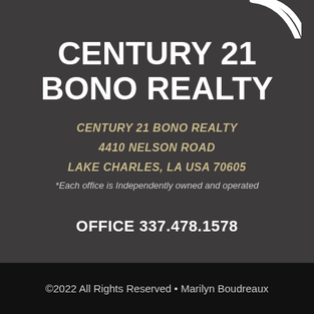[Figure (logo): Century 21 logo partial arc/swoosh in white on dark background, top right corner]
CENTURY 21 BONO REALTY
CENTURY 21 BONO REALTY
4410 NELSON ROAD
LAKE CHARLES, LA USA 70605
*Each office is Independently owned and operated
OFFICE 337.478.1578
©2022 All Rights Reserved • Marilyn Boudreaux